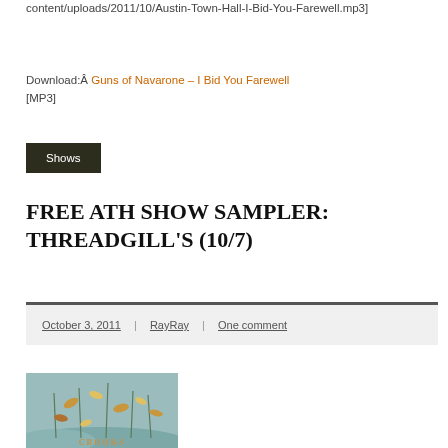content/uploads/2011/10/Austin-Town-Hall-I-Bid-You-Farewell.mp3]
Download:Â Guns of Navarone – I Bid You Farewell [MP3]
Shows
FREE ATH SHOW SAMPLER: THREADGILL'S (10/7)
October 3, 2011 | RayRay | One comment
[Figure (illustration): Decorative illustration featuring plant stems and leaves in muted teal/orange tones with text 'CROOKS' at the bottom]